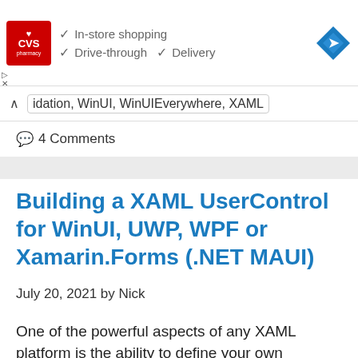[Figure (screenshot): CVS Pharmacy advertisement banner showing logo and checkmarks for In-store shopping, Drive-through, and Delivery services, with a navigation icon on the right]
idation, WinUI, WinUIEverywhere, XAML
💬 4 Comments
Building a XAML UserControl for WinUI, UWP, WPF or Xamarin.Forms (.NET MAUI)
July 20, 2021 by Nick
One of the powerful aspects of any XAML platform is the ability to define your own